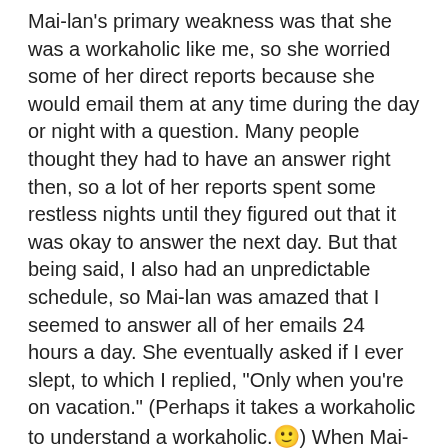Mai-lan's primary weakness was that she was a workaholic like me, so she worried some of her direct reports because she would email them at any time during the day or night with a question. Many people thought they had to have an answer right then, so a lot of her reports spent some restless nights until they figured out that it was okay to answer the next day. But that being said, I also had an unpredictable schedule, so Mai-lan was amazed that I seemed to answer all of her emails 24 hours a day. She eventually asked if I ever slept, to which I replied, "Only when you're on vacation." (Perhaps it takes a workaholic to understand a workaholic. 😊) When Mai-lan's position was unexpectedly cut from the IIS team, she and I had found out immediately before we were scheduled to attend a team meeting, and when I sat next to her, I risked an HR violation by hugging her and saying, "I'm so sorry - I really liked working for you, and you will be sorely missed." Mai-lan simply cried as a response. 😟